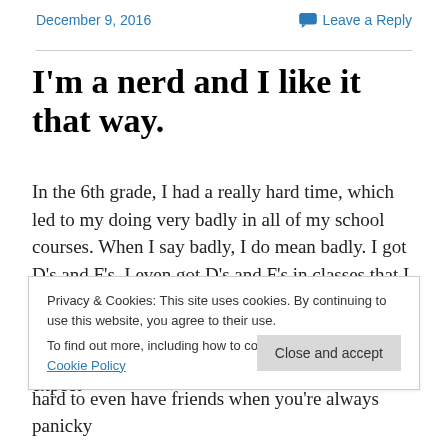December 9, 2016   Leave a Reply
I'm a nerd and I like it that way.
In the 6th grade, I had a really hard time, which led to my doing very badly in all of my school courses. When I say badly, I do mean badly. I got D's and F's. I even got D's and F's in classes that I had never before gotten less than an A in. I was lucky though. My parents never used any of my childhood traumas as an excuse to allow me to expect
Privacy & Cookies: This site uses cookies. By continuing to use this website, you agree to their use.
To find out more, including how to control cookies, see here: Cookie Policy
hard to even have friends when you're always panicky